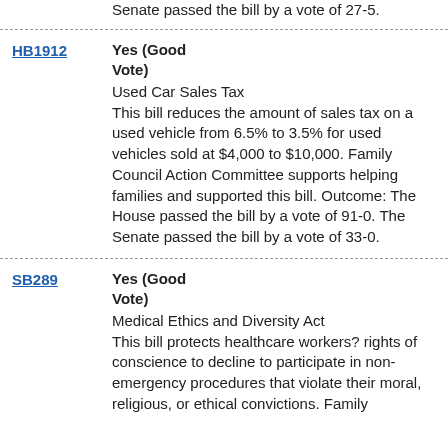Senate passed the bill by a vote of 27-5.
HB1912 | Yes (Good Vote) | Used Car Sales Tax | This bill reduces the amount of sales tax on a used vehicle from 6.5% to 3.5% for used vehicles sold at $4,000 to $10,000. Family Council Action Committee supports helping families and supported this bill. Outcome: The House passed the bill by a vote of 91-0. The Senate passed the bill by a vote of 33-0.
SB289 | Yes (Good Vote) | Medical Ethics and Diversity Act | This bill protects healthcare workers? rights of conscience to decline to participate in non-emergency procedures that violate their moral, religious, or ethical convictions. Family